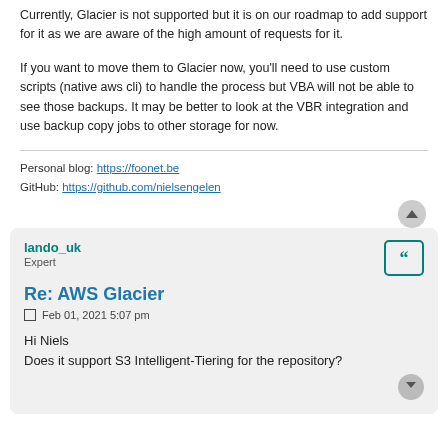Currently, Glacier is not supported but it is on our roadmap to add support for it as we are aware of the high amount of requests for it.
If you want to move them to Glacier now, you'll need to use custom scripts (native aws cli) to handle the process but VBA will not be able to see those backups. It may be better to look at the VBR integration and use backup copy jobs to other storage for now.
Personal blog: https://foonet.be
GitHub: https://github.com/nielsengelen
lando_uk
Expert
Re: AWS Glacier
Feb 01, 2021 5:07 pm
Hi Niels
Does it support S3 Intelligent-Tiering for the repository?